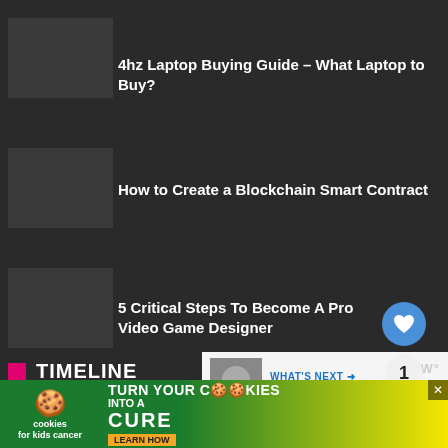4hz Laptop Buying Guide – What Laptop to Buy?
How to Create a Blockchain Smart Contract
5 Critical Steps To Become A Pro Video Game Designer
TIMELINE
1 day ago
5 Critical Steps To Become A Pro Video Game Designer
[Figure (screenshot): What's Next panel with thumbnail and text: WHAT'S NEXT → In Other News, July 8 2010]
[Figure (photo): Ad banner: cookies for kids cancer - turn your cookies into a cure learn how]